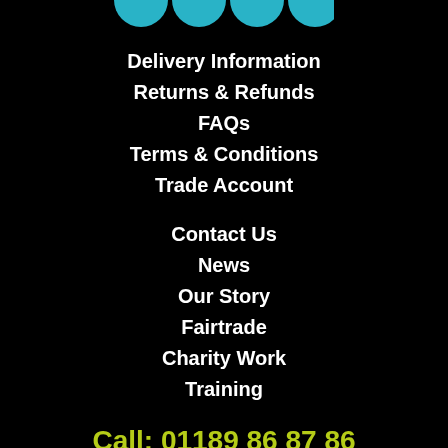[Figure (logo): Four teal/cyan circles partially visible at the top of the page serving as a logo]
Delivery Information
Returns & Refunds
FAQs
Terms & Conditions
Trade Account
Contact Us
News
Our Story
Fairtrade
Charity Work
Training
Call: 01189 86 87 86
Open 9:00 am - 5:00 pm